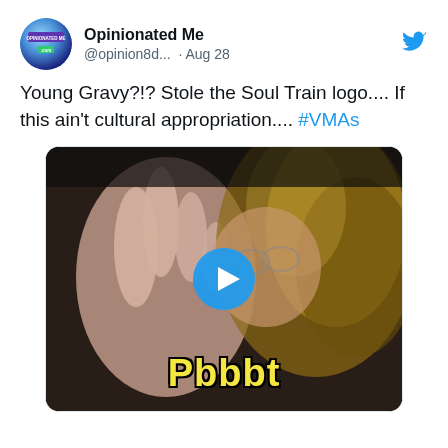[Figure (screenshot): Twitter/X post by Opinionated Me (@opinion8d...) dated Aug 28. Profile avatar showing a circular logo with 'OPINIONATED ME' text. Post text reads: 'Young Gravy?!? Stole the Soul Train logo.... If this ain't cultural appropriation.... #VMAs'. Includes an embedded video thumbnail showing a woman with highlighted hair making a hand gesture, with a blue play button overlay and yellow subtitle text 'Pbbbt' at the bottom.]